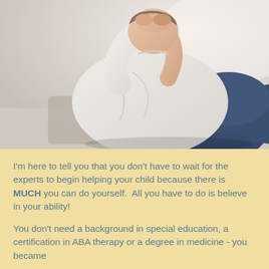[Figure (photo): A person (appearing distressed) sitting hunched over with arms raised and hands clasped behind their head, wearing a white shirt and jeans, viewed from a close angle against a light background.]
I'm here to tell you that you don't have to wait for the experts to begin helping your child because there is MUCH you can do yourself.  All you have to do is believe in your ability!
You don't need a background in special education, a certification in ABA therapy or a degree in medicine - you became